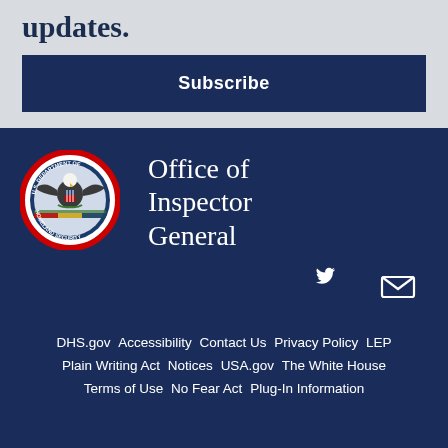updates.
Subscribe
[Figure (logo): U.S. Department of Homeland Security seal/logo]
Office of Inspector General
[Figure (other): Twitter bird icon and email envelope icon]
DHS.gov  Accessibility  Contact Us  Privacy Policy  LEP  Plain Writing Act  Notices  USA.gov  The White House  Terms of Use  No Fear Act  Plug-In Information